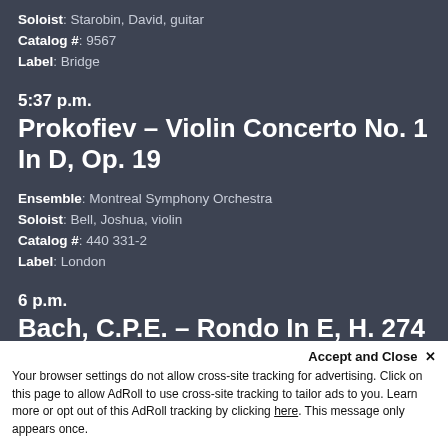Soloist: Starobin, David, guitar
Catalog #: 9567
Label: Bridge
5:37 p.m.
Prokofiev – Violin Concerto No. 1 In D, Op. 19
Ensemble: Montreal Symphony Orchestra
Soloist: Bell, Joshua, violin
Catalog #: 440 331-2
Label: London
6 p.m.
Bach, C.P.E. – Rondo In E, H. 274
Soloist: Hamelin, Marc-André, piano
Catalog #: 68381/2
Label: Hyperion
Accept and Close ×
Your browser settings do not allow cross-site tracking for advertising. Click on this page to allow AdRoll to use cross-site tracking to tailor ads to you. Learn more or opt out of this AdRoll tracking by clicking here. This message only appears once.